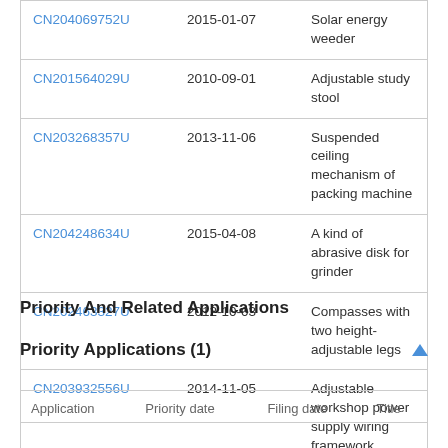| Application | Date | Title |
| --- | --- | --- |
| CN204069752U | 2015-01-07 | Solar energy weeder |
| CN201564029U | 2010-09-01 | Adjustable study stool |
| CN203268357U | 2013-11-06 | Suspended ceiling mechanism of packing machine |
| CN204248634U | 2015-04-08 | A kind of abrasive disk for grinder |
| CN202463327U | 2012-10-03 | Compasses with two height-adjustable legs |
| CN203932556U | 2014-11-05 | Adjustable workshop power supply wiring framework |
Priority And Related Applications
Priority Applications (1)
| Application | Priority date | Filing date | Title |
| --- | --- | --- | --- |